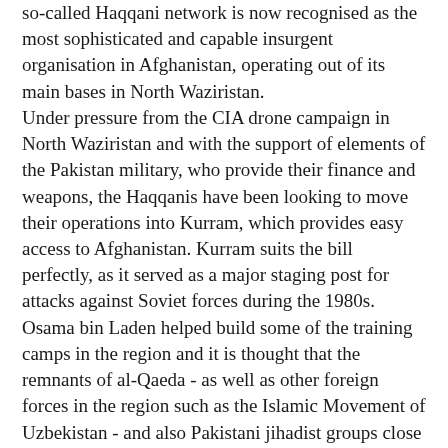so-called Haqqani network is now recognised as the most sophisticated and capable insurgent organisation in Afghanistan, operating out of its main bases in North Waziristan. Under pressure from the CIA drone campaign in North Waziristan and with the support of elements of the Pakistan military, who provide their finance and weapons, the Haqqanis have been looking to move their operations into Kurram, which provides easy access to Afghanistan. Kurram suits the bill perfectly, as it served as a major staging post for attacks against Soviet forces during the 1980s. Osama bin Laden helped build some of the training camps in the region and it is thought that the remnants of al-Qaeda - as well as other foreign forces in the region such as the Islamic Movement of Uzbekistan - and also Pakistani jihadist groups close to the military such as the Lashkar-e-Toiba will benefit from the peace deal with the Turi tribe. According to a new report from the Institute for the Study of War and the American Enterprise Institute's Critical Threats Project , written by Jeffrey Dressler and Reza Jan, the Haqqani's move into Kurram will have negative consequences for security and stability in both Afghanistan and Pakistan. They say it will become more difficult to identify, track and strike these groups once they have relocated.